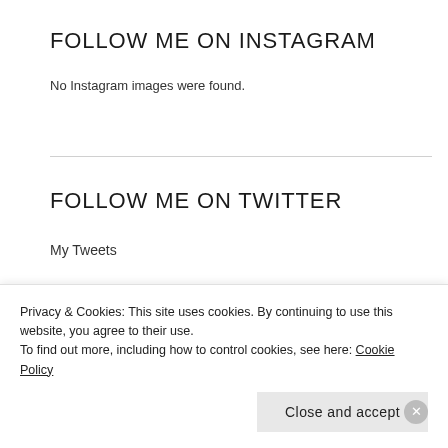FOLLOW ME ON INSTAGRAM
No Instagram images were found.
FOLLOW ME ON TWITTER
My Tweets
CATEGORIES
Select Category
Privacy & Cookies: This site uses cookies. By continuing to use this website, you agree to their use.
To find out more, including how to control cookies, see here: Cookie Policy
Close and accept